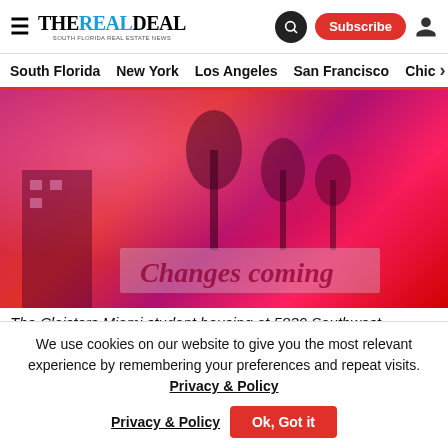THE REAL DEAL — SOUTH FLORIDA REAL ESTATE NEWS | Subscribe
South Florida  New York  Los Angeles  San Francisco  Chic >
[Figure (photo): Red/magenta-tinted photo of The Cloisters Miami student housing with palm trees and a sign reading 'Changes coming']
The Cloisters Miami student housing at 5830 Southwest
We use cookies on our website to give you the most relevant experience by remembering your preferences and repeat visits. Privacy & Policy  Ok, Got it